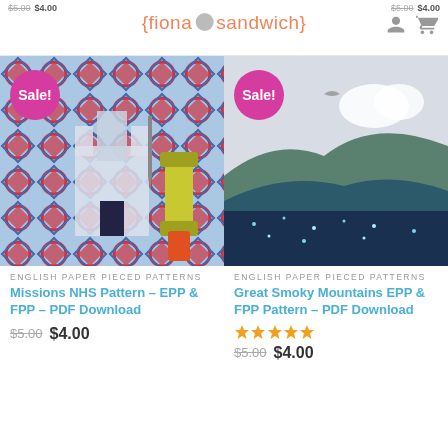{fiona sandwich}
[Figure (photo): Quilt pattern product image showing Missions NHS Pattern with blue/red star design castle motif, yellow thread spool, Sale badge]
ENGLISH PAPER PIECED PATTERNS
Missions NHS Pattern – EPP & FPP – PDF Download
$5.00  $4.00
[Figure (photo): Quilt pattern product image showing Great Smoky Mountains EPP landscape quilt with stars and hills, Sale badge]
ENGLISH PAPER PIECED PATTERNS
Great Smoky Mountains EPP & FPP Pattern – PDF Download
★★★★★
$5.00  $4.00